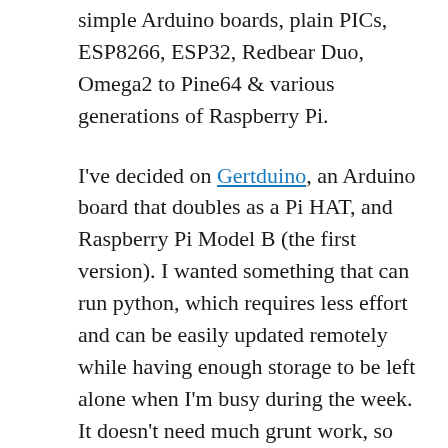simple Arduino boards, plain PICs, ESP8266, ESP32, Redbear Duo, Omega2 to Pine64 & various generations of Raspberry Pi.
I've decided on Gertduino, an Arduino board that doubles as a Pi HAT, and Raspberry Pi Model B (the first version). I wanted something that can run python, which requires less effort and can be easily updated remotely while having enough storage to be left alone when I'm busy during the week. It doesn't need much grunt work, so and older Pi suffice. The outdoor unit is near my housemate's bedroom window, so a reliable design helps by giving him less interruption.